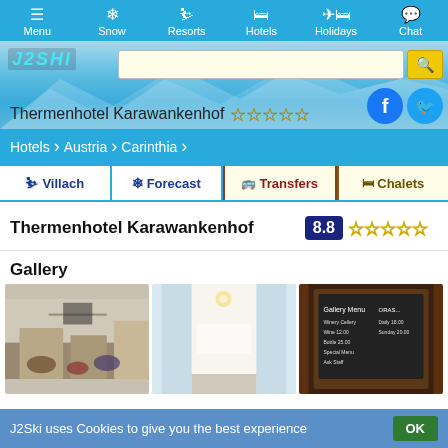Menu | Snow | Resorts | Hotels | Holidays | Chat
[Figure (screenshot): J2Ski website header banner with logo, search bar, and hotel name 'Thermenhotel Karawankenhof' with 4 gold stars and Facebook/Twitter icons]
Hotels > Austria > Carinthia
Villach | Forecast | Transfers | Chalets
Thermenhotel Karawankenhof
8.8 ☆☆☆☆☆
Gallery
[Figure (photo): Gallery showing hotel interior photos: lobby/lounge area, corridor, and menu board]
J2Ski uses Cookies to give you the best experience OK